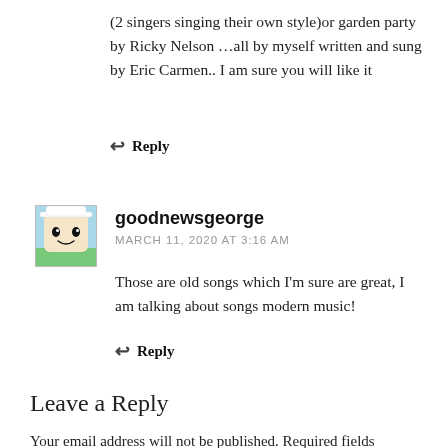(2 singers singing their own style)or garden party by Ricky Nelson …all by myself written and sung by Eric Carmen.. I am sure you will like it
↩ Reply
goodnewsgeorge
MARCH 11, 2020 AT 3:16 AM
Those are old songs which I'm sure are great, I am talking about songs modern music!
↩ Reply
Leave a Reply
Your email address will not be published. Required fields